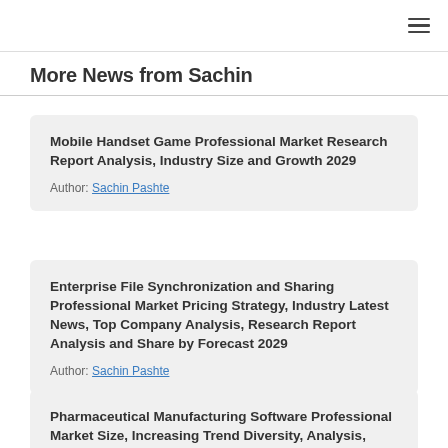≡
More News from Sachin
Mobile Handset Game Professional Market Research Report Analysis, Industry Size and Growth 2029
Author: Sachin Pashte
Enterprise File Synchronization and Sharing Professional Market Pricing Strategy, Industry Latest News, Top Company Analysis, Research Report Analysis and Share by Forecast 2029
Author: Sachin Pashte
Pharmaceutical Manufacturing Software Professional Market Size, Increasing Trend Diversity, Analysis, Future Scope Analysis